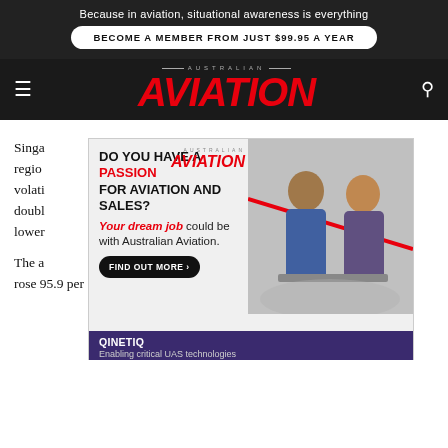Because in aviation, situational awareness is everything
BECOME A MEMBER FROM JUST $99.95 A YEAR
[Figure (logo): Australian Aviation magazine logo with red italic AVIATION text and AUSTRALIAN in small caps above]
Singapore ... its regional ... amid volatility ... r double... s to lower
[Figure (infographic): Advertisement overlay: DO YOU HAVE A PASSION FOR AVIATION AND SALES? Your dream job could be with Australian Aviation. FIND OUT MORE button. Australian Aviation logo. Photo of two professionals. QinetiQ Enabling critical UAS technologies strip at bottom.]
The a... ofit rose 95.9 per cent to $S288 million in the three